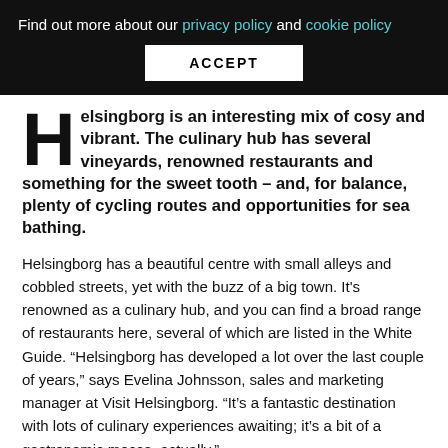Find out more about our privacy policy and cookie policy
ACCEPT
Helsingborg is an interesting mix of cosy and vibrant. The culinary hub has several vineyards, renowned restaurants and something for the sweet tooth – and, for balance, plenty of cycling routes and opportunities for sea bathing.
Helsingborg has a beautiful centre with small alleys and cobbled streets, yet with the buzz of a big town. It's renowned as a culinary hub, and you can find a broad range of restaurants here, several of which are listed in the White Guide. “Helsingborg has developed a lot over the last couple of years,” says Evelina Johnsson, sales and marketing manager at Visit Helsingborg. “It’s a fantastic destination with lots of culinary experiences awaiting; it’s a bit of a gastronomic mecca, actually.”
It might surprise some that there are a number of